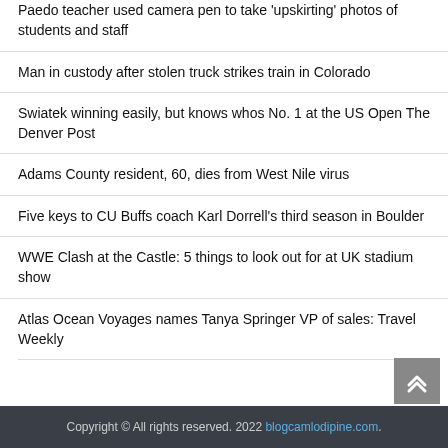Paedo teacher used camera pen to take 'upskirting' photos of students and staff
Man in custody after stolen truck strikes train in Colorado
Swiatek winning easily, but knows whos No. 1 at the US Open The Denver Post
Adams County resident, 60, dies from West Nile virus
Five keys to CU Buffs coach Karl Dorrell's third season in Boulder
WWE Clash at the Castle: 5 things to look out for at UK stadium show
Atlas Ocean Voyages names Tanya Springer VP of sales: Travel Weekly
Copyright © All rights reserved. 2022 blogcamlodipine.com.